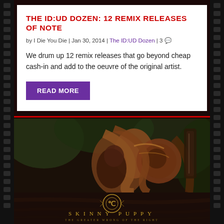THE ID:UD DOZEN: 12 REMIX RELEASES OF NOTE
by I Die You Die | Jan 30, 2014 | The ID:UD Dozen | 3
We drum up 12 remix releases that go beyond cheap cash-in and add to the oeuvre of the original artist.
READ MORE
[Figure (photo): Abstract organic art image - top portion of Skinny Puppy album artwork showing surreal organic shapes in dark tones]
[Figure (photo): Bottom portion of Skinny Puppy album cover with text SKINNY PUPPY and ornate logo, subtitle text THE GREATER WRONG OF THE RIGHT]